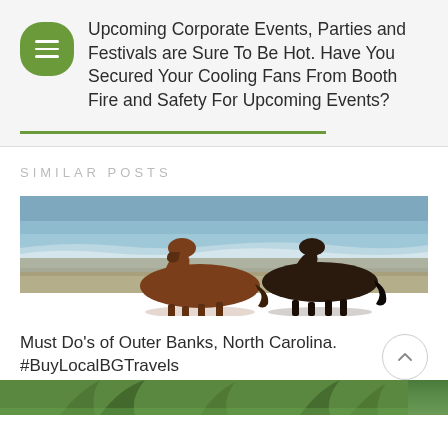Upcoming Corporate Events, Parties and Festivals are Sure To Be Hot. Have You Secured Your Cooling Fans From Booth Fire and Safety For Upcoming Events?
SIMILAR POSTS
[Figure (photo): Two horses (one brown, one dark brown/black) walking on a beach shoreline with ocean waves in the background and wet sand.]
Must Do's of Outer Banks, North Carolina. #BuyLocalBGTravels
[Figure (photo): Partial view of tropical or beach scene with green vegetation, partially cut off at bottom of page.]